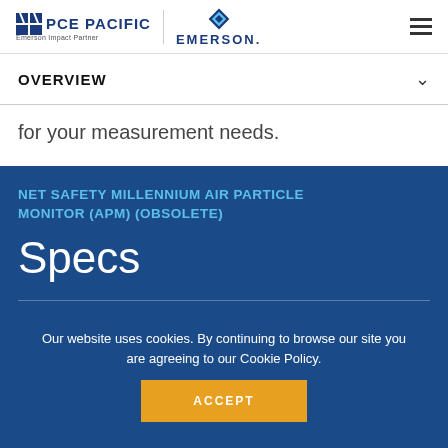[Figure (logo): PCE Pacific logo with Emerson Impact Partner tagline and Emerson diamond logo]
OVERVIEW
for your measurement needs.
NET SAFETY MILLENNIUM AIR PARTICLE MONITOR (APM) (OBSOLETE)
Specs
Our website uses cookies. By continuing to browse our site you are agreeing to our Cookie Policy.
ACCEPT